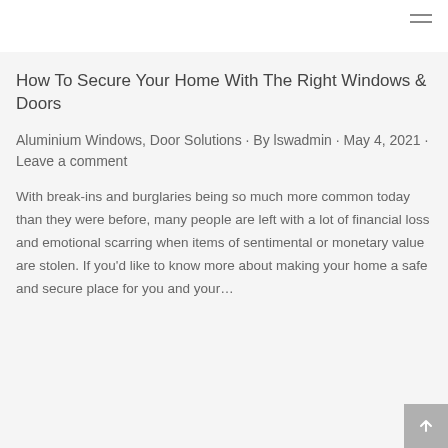≡
How To Secure Your Home With The Right Windows & Doors
Aluminium Windows, Door Solutions · By lswadmin · May 4, 2021 · Leave a comment
With break-ins and burglaries being so much more common today than they were before, many people are left with a lot of financial loss and emotional scarring when items of sentimental or monetary value are stolen. If you'd like to know more about making your home a safe and secure place for you and your…